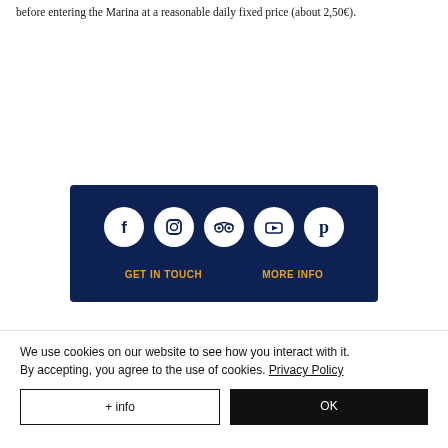before entering the Marina at a reasonable daily fixed price (about 2,50€).
[Figure (infographic): Dark navy blue footer banner with five social media icons (Facebook, Instagram, TripAdvisor, YouTube, Pinterest) arranged in a row of white circles, and two orange text links below: GET IN TOUCH and MORE INFO.]
We use cookies on our website to see how you interact with it. By accepting, you agree to the use of cookies. Privacy Policy
+ info
OK